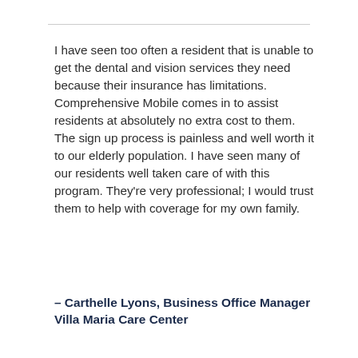I have seen too often a resident that is unable to get the dental and vision services they need because their insurance has limitations. Comprehensive Mobile comes in to assist residents at absolutely no extra cost to them. The sign up process is painless and well worth it to our elderly population. I have seen many of our residents well taken care of with this program. They're very professional; I would trust them to help with coverage for my own family.
– Carthelle Lyons, Business Office Manager
Villa Maria Care Center